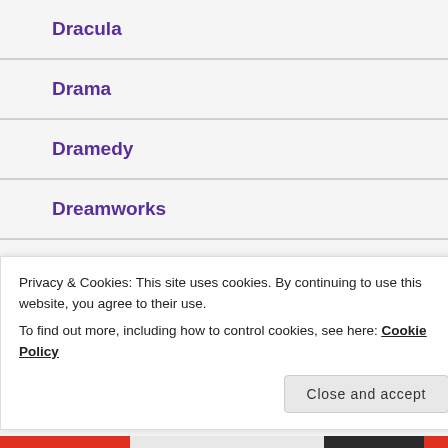Dracula
Drama
Dramedy
Dreamworks
Epic
Espionage
Privacy & Cookies: This site uses cookies. By continuing to use this website, you agree to their use.
To find out more, including how to control cookies, see here: Cookie Policy
Close and accept